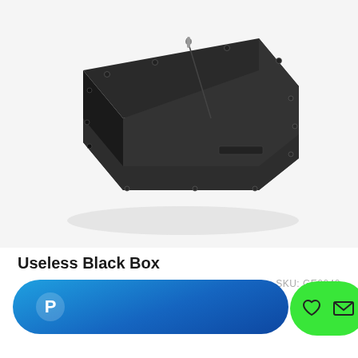[Figure (photo): A black metal box (Useless Black Box) photographed on white background, showing a rectangular dark metal enclosure with screws around edges, a toggle switch on top, and ventilation slots on the side.]
Useless Black Box
SKU: GE0040
$21.95
RRP $39.95
[Figure (other): PayPal checkout button (blue pill-shaped), wishlist heart icon, and email envelope icon on green circle button]